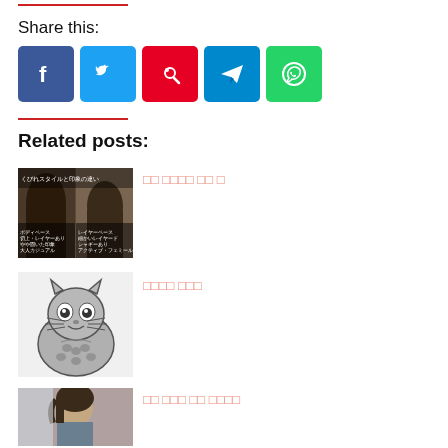Share this:
[Figure (infographic): Social share icons: Facebook, Twitter, Pinterest, Telegram, WhatsApp]
Related posts:
[Figure (photo): Japanese hairstyle comparison photo with text overlay]
□□ □□□□ □□ □
[Figure (illustration): Totoro cartoon character illustration]
□□□□ □□□
[Figure (photo): Woman with short bob haircut]
□□ □□□ □□ □□□□